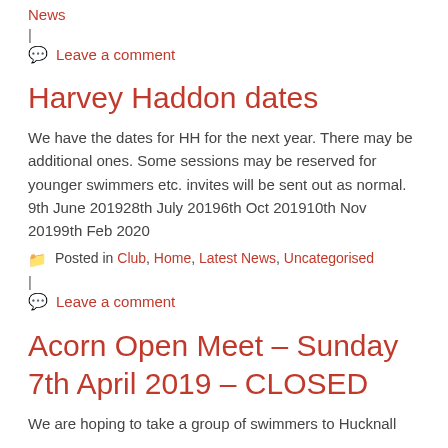News
|
Leave a comment
Harvey Haddon dates
We have the dates for HH for the next year. There may be additional ones. Some sessions may be reserved for younger swimmers etc. invites will be sent out as normal. 9th June 201928th July 20196th Oct 201910th Nov 20199th Feb 2020
Posted in Club, Home, Latest News, Uncategorised
|
Leave a comment
Acorn Open Meet – Sunday 7th April 2019 – CLOSED
We are hoping to take a group of swimmers to Hucknall